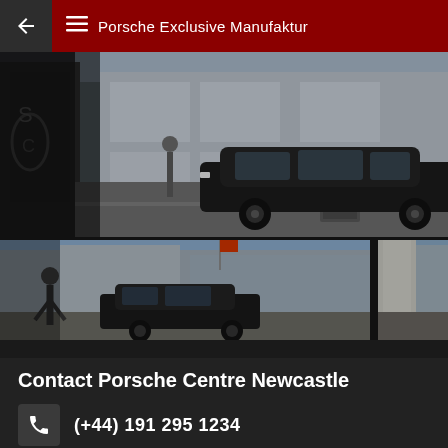Porsche Exclusive Manufaktur
[Figure (photo): Gallery of Porsche cars in urban settings: top large image shows dark Porsche sedan on city street with pedestrians and buildings; bottom left shows dark Porsche on street with buildings; bottom right shows dark Porsche on urban street with pedestrians; right side partial image partially visible. Horizontal scroll indicator below gallery.]
Contact Porsche Centre Newcastle
(+44) 191 295 1234